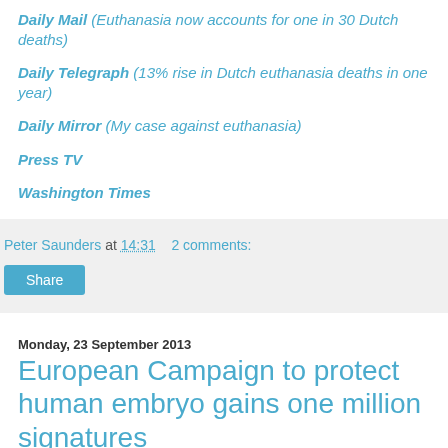Daily Mail  (Euthanasia now accounts for one in 30 Dutch deaths)
Daily Telegraph  (13% rise in Dutch euthanasia deaths in one year)
Daily Mirror (My case against euthanasia)
Press TV
Washington Times
Peter Saunders at 14:31   2 comments:
Share
Monday, 23 September 2013
European Campaign to protect human embryo gains one million signatures
[Figure (photo): Banner image showing 'YOUR VOTE FOR THE...' text on a colorful background with a face visible]